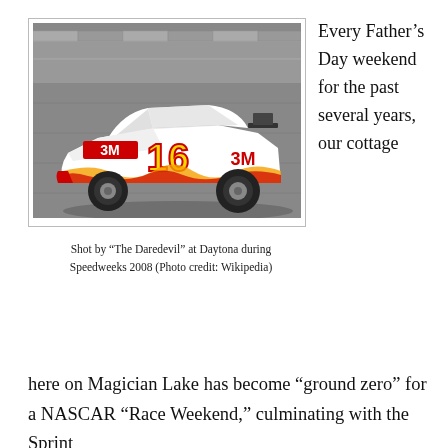[Figure (photo): NASCAR #16 3M sponsored race car on track at Daytona during Speedweeks 2008, photographed in black and white background with colorful car]
Shot by “The Daredevil” at Daytona during Speedweeks 2008 (Photo credit: Wikipedia)
Every Father’s Day weekend for the past several years, our cottage here on Magician Lake has become “ground zero” for a NASCAR “Race Weekend,” culminating with the Sprint